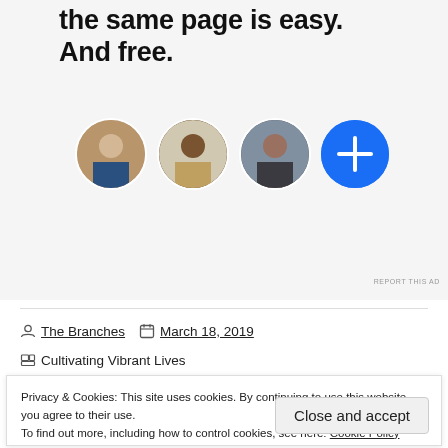[Figure (illustration): Advertisement banner showing bold text 'the same page is easy. And free.' with three circular profile photo avatars and a blue plus button circle. Gray background.]
REPORT THIS AD
The Branches   March 18, 2019
Cultivating Vibrant Lives
Privacy & Cookies: This site uses cookies. By continuing to use this website, you agree to their use.
To find out more, including how to control cookies, see here: Cookie Policy
Close and accept